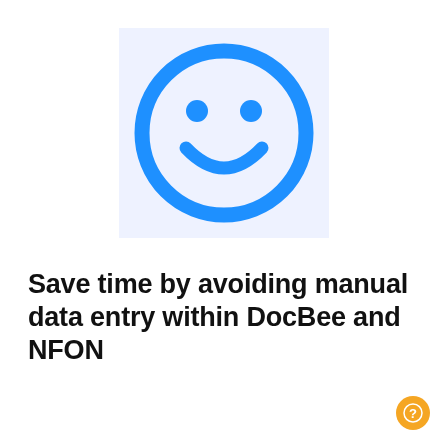[Figure (illustration): Blue smiley face icon with circular outline, two round eyes, and a curved smile, on a light blue-tinted white background square]
Save time by avoiding manual data entry within DocBee and NFON